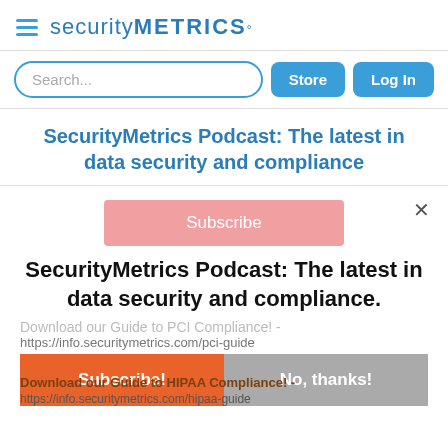[Figure (logo): SecurityMetrics logo with hamburger menu icon and blue text]
[Figure (screenshot): Search bar with Store and Log In buttons]
SecurityMetrics Podcast: The latest in data security and compliance
[Figure (screenshot): Modal popup with Subscribe button, podcast title, and Subscribe!/No thanks buttons]
Download our Guide to PCI Compliance! - https://info.securitymetrics.com/pci-guide
Download our Guide to HIPAA Compliance! - https://info.securitymetrics.com/hipaa-guide